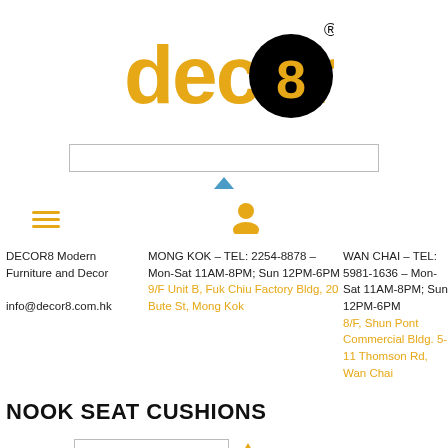[Figure (logo): decor8 logo in orange and black with registered trademark symbol]
[Figure (other): Search bar input field]
[Figure (other): Blue dropdown/up arrow]
[Figure (other): Hamburger menu icon in orange and user icon in orange/yellow]
DECOR8 Modern Furniture and Decor

info@decor8.com.hk
MONG KOK – TEL: 2254-8878 – Mon-Sat 11AM-8PM; Sun 12PM-6PM
9/F Unit B, Fuk Chiu Factory Bldg, 20 Bute St, Mong Kok
WAN CHAI – TEL: 5981-1636 – Mon-Sat 11AM-8PM; Sun 12PM-6PM
8/F, Shun Pont Commercial Bldg. 5-11 Thomson Rd, Wan Chai
NOOK SEAT CUSHIONS
SORT BY: Top Products